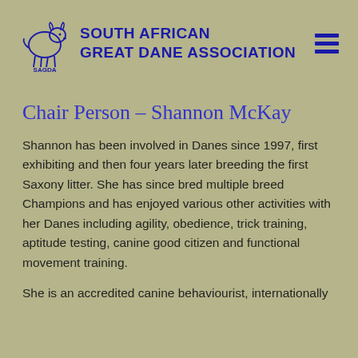[Figure (logo): SAGDA logo with Great Dane dog outline and text 'South African Great Dane Association']
Chair Person – Shannon McKay
Shannon has been involved in Danes since 1997, first exhibiting and then four years later breeding the first Saxony litter. She has since bred multiple breed Champions and has enjoyed various other activities with her Danes including agility, obedience, trick training, aptitude testing, canine good citizen and functional movement training.
She is an accredited canine behaviourist, internationally